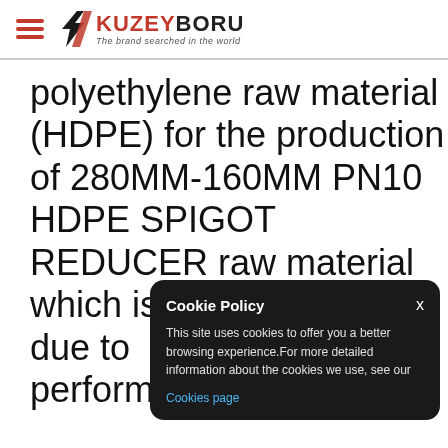KUZEYBORU - The brand searched in the world
polyethylene raw material (HDPE) for the production of 280MM-160MM PN10 HDPE SPIGOT REDUCER raw material which is the most pr... due to ... perform...
Cookie Policy
x
This site uses cookies to offer you a better browsing experience.For more detailed information about the cookies we use, see our Cookies page